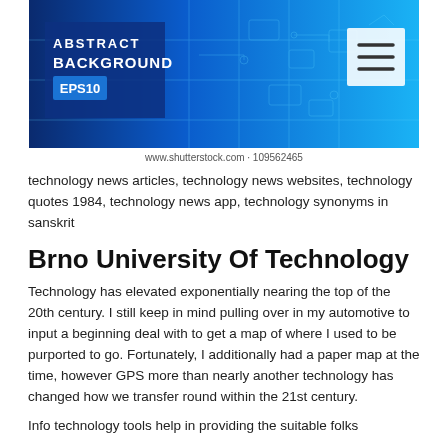[Figure (illustration): Abstract technology background banner with blue gradient, circuit board patterns, EPS10 label, and hamburger menu icon. Text reads ABSTRACT BACKGROUND EPS10.]
www.shutterstock.com · 109562465
technology news articles, technology news websites, technology quotes 1984, technology news app, technology synonyms in sanskrit
Brno University Of Technology
Technology has elevated exponentially nearing the top of the 20th century. I still keep in mind pulling over in my automotive to input a beginning deal with to get a map of where I used to be purported to go. Fortunately, I additionally had a paper map at the time, however GPS more than nearly another technology has changed how we transfer round within the 21st century.
Info technology tools help in providing the suitable folks